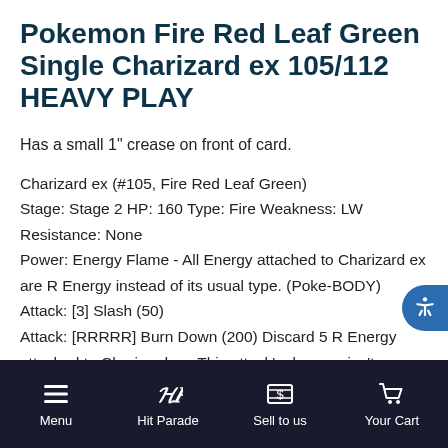Pokemon Fire Red Leaf Green Single Charizard ex 105/112 HEAVY PLAY
Has a small 1" crease on front of card.
Charizard ex (#105, Fire Red Leaf Green)
Stage: Stage 2 HP: 160 Type: Fire Weakness: LW Resistance: None
Power: Energy Flame - All Energy attached to Charizard ex are R Energy instead of its usual type. (Poke-BODY)
Attack: [3] Slash (50)
Attack: [RRRRR] Burn Down (200) Discard 5 R Energy attached to Charizard ex. This attack's damage isn't affected by Weakness, Resistance, Poke-Powers, Poke-Bodies, and any other effects on the Defending Pokemon.
Retreat Cost: 2 Rarity: Ultra-Rare
Menu | Hit Parade | Sell to us | Your Cart